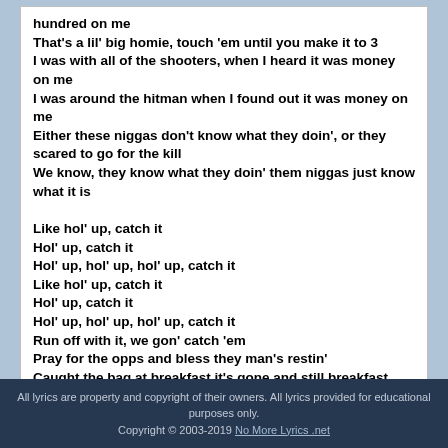hundred on me
That's a lil' big homie, touch 'em until you make it to 3
I was with all of the shooters, when I heard it was money on me
I was around the hitman when I found out it was money on me
Either these niggas don't know what they doin', or they scared to go for the kill
We know, they know what they doin' them niggas just know what it is

Like hol' up, catch it
Hol' up, catch it
Hol' up, hol' up, hol' up, catch it
Like hol' up, catch it
Hol' up, catch it
Hol' up, hol' up, hol' up, catch it
Run off with it, we gon' catch 'em
Pray for the opps and bless they man's restin'
Caught the bag at breakfast it's gone and still breakfast
Rob my man's and gave it back, stupid we still stretched 'em
All lyrics are property and copyright of their owners. All lyrics provided for educational purposes only.
Copyright © 2003-2019 No More Lyrics .net